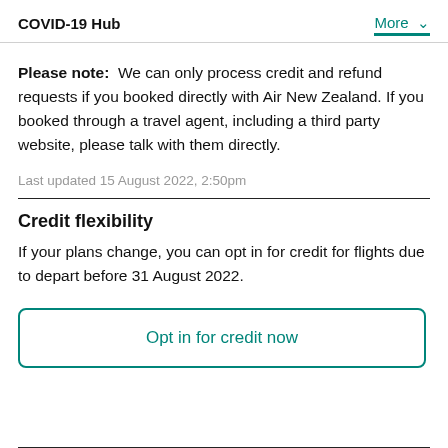COVID-19 Hub  More
Please note:  We can only process credit and refund requests if you booked directly with Air New Zealand. If you booked through a travel agent, including a third party website, please talk with them directly.
Last updated 15 August 2022, 2:50pm
Credit flexibility
If your plans change, you can opt in for credit for flights due to depart before 31 August 2022.
Opt in for credit now